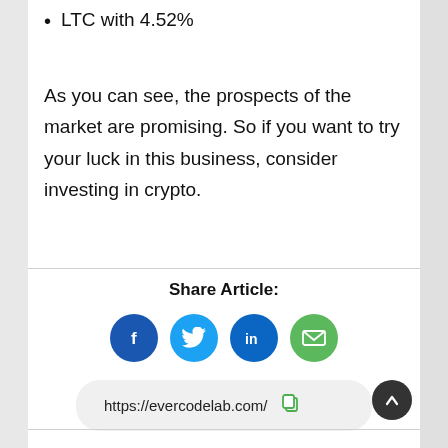LTC with 4.52%
As you can see, the prospects of the market are promising. So if you want to try your luck in this business, consider investing in crypto.
Share Article:
[Figure (infographic): Social share buttons: Facebook (blue circle with f), Twitter (light blue circle with bird), LinkedIn (dark blue circle with in), Email (green circle with envelope icon)]
https://evercodelab.com/